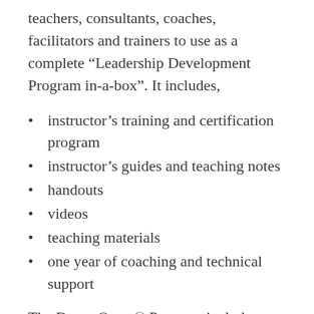teachers, consultants, coaches, facilitators and trainers to use as a complete “Leadership Development Program in-a-box”. It includes,
instructor’s training and certification program
instructor’s guides and teaching notes
handouts
videos
teaching materials
one year of coaching and technical support
The DreamQuest® Program includes state-of-the-art leadership concepts and